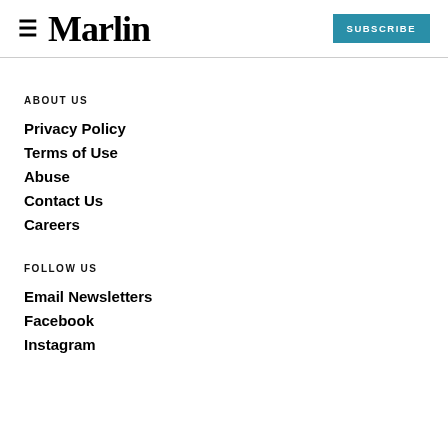Marlin  SUBSCRIBE
ABOUT US
Privacy Policy
Terms of Use
Abuse
Contact Us
Careers
FOLLOW US
Email Newsletters
Facebook
Instagram